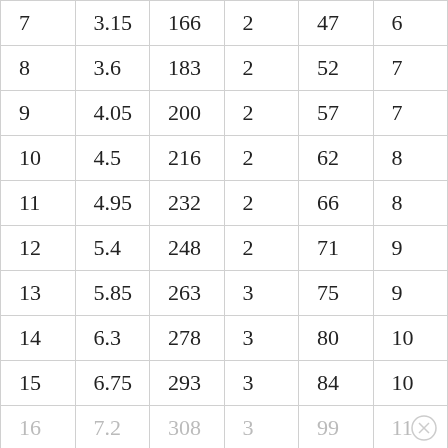| 7 | 3.15 | 166 | 2 | 47 | 6 |
| 8 | 3.6 | 183 | 2 | 52 | 7 |
| 9 | 4.05 | 200 | 2 | 57 | 7 |
| 10 | 4.5 | 216 | 2 | 62 | 8 |
| 11 | 4.95 | 232 | 2 | 66 | 8 |
| 12 | 5.4 | 248 | 2 | 71 | 9 |
| 13 | 5.85 | 263 | 3 | 75 | 9 |
| 14 | 6.3 | 278 | 3 | 80 | 10 |
| 15 | 6.75 | 293 | 3 | 84 | 10 |
| 16 | 7.2 | 308 | 3 | 99 | 11 |